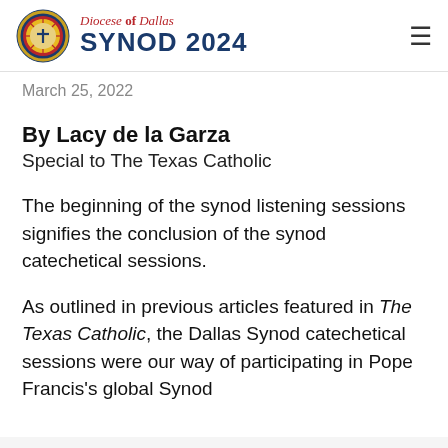Diocese of Dallas SYNOD 2024
March 25, 2022
By Lacy de la Garza
Special to The Texas Catholic
The beginning of the synod listening sessions signifies the conclusion of the synod catechetical sessions.
As outlined in previous articles featured in The Texas Catholic, the Dallas Synod catechetical sessions were our way of participating in Pope Francis's global Synod